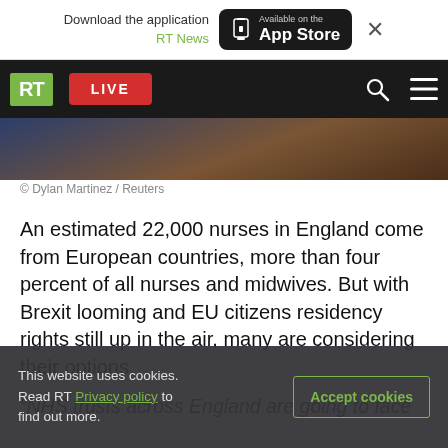Download the application RT News — Available on the App Store
RT LIVE
[Figure (photo): Partial photo of a person, dark background, visible in a strip behind the navigation bar]
© Dylan Martinez / Reuters
An estimated 22,000 nurses in England come from European countries, more than four percent of all nurses and midwives. But with Brexit looming and EU citizens residency rights still up in the air, many are considering their options.
“NHS trusts across England are going to face
This website uses cookies. Read RT Privacy policy to find out more.